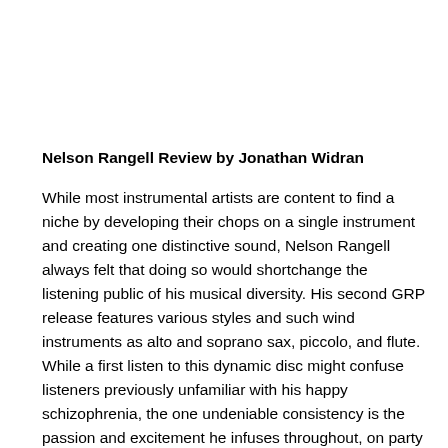Nelson Rangell Review by Jonathan Widran
While most instrumental artists are content to find a niche by developing their chops on a single instrument and creating one distinctive sound, Nelson Rangell always felt that doing so would shortchange the listening public of his musical diversity. His second GRP release features various styles and such wind instruments as alto and soprano sax, piccolo, and flute. While a first listen to this dynamic disc might confuse listeners previously unfamiliar with his happy schizophrenia, the one undeniable consistency is the passion and excitement he infuses throughout, on party jams like "Givin' the High Sign" and also on more heartfelt fare, close to the lines of Ellington's "Prelude to a Kiss"